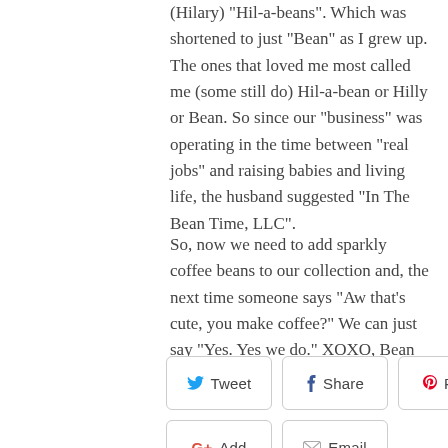(Hilary) "Hil-a-beans". Which was shortened to just "Bean" as I grew up. The ones that loved me most called me (some still do) Hil-a-bean or Hilly or Bean. So since our "business" was operating in the time between "real jobs" and raising babies and living life, the husband suggested "In The Bean Time, LLC".
So, now we need to add sparkly coffee beans to our collection and, the next time someone says "Aw that's cute, you make coffee?" We can just say "Yes. Yes we do." XOXO, Bean
[Figure (infographic): Social sharing buttons: Tweet (Twitter), Share (Facebook), Pin It (Pinterest), Add (Google+), Email]